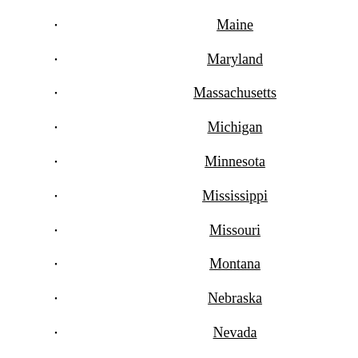Maine
Maryland
Massachusetts
Michigan
Minnesota
Mississippi
Missouri
Montana
Nebraska
Nevada